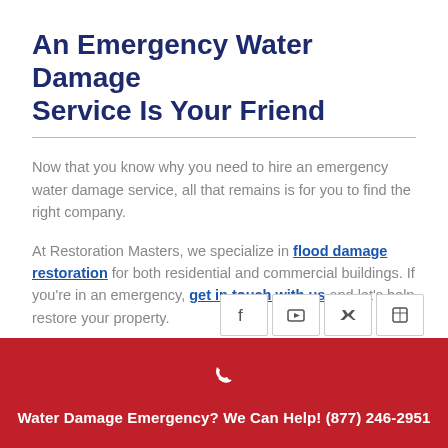An Emergency Water Damage Service Is Your Friend
Now that you know why you need to hire an emergency water damage service, all that remains is for you to find the right company.
At Restoration Masters, we specialize in flood damage restoration for both residential and commercial buildings. If you're in an emergency, get in touch with us and let's help restore your property.
[Figure (other): Four social media icon buttons (Facebook, YouTube, Twitter, and another) in square bordered boxes]
Water Damage Emergency? We Can Help! (877) 246-2951